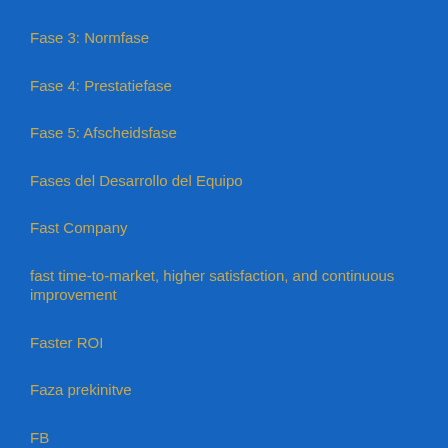Fase 3: Normfase
Fase 4: Prestatiefase
Fase 5: Afscheidsfase
Fases del Desarrollo del Equipo
Fast Company
fast time-to-market, higher satisfaction, and continuous improvement
Faster ROI
Faza prekinitve
FB